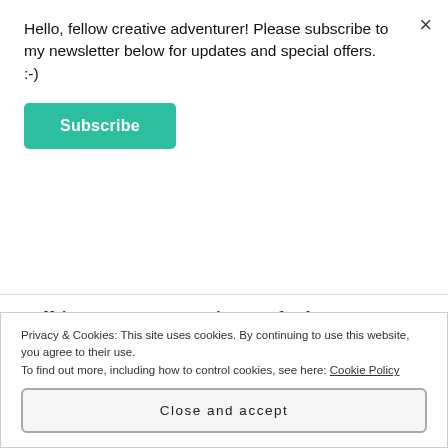Hello, fellow creative adventurer! Please subscribe to my newsletter below for updates and special offers. :-)
Subscribe
cell in a greater organism and when you step back from yourself you can't see how your work fits in anymore. You feel like you are being absorbed into a circuit of promotion and marketing hype that just goes round and round like a mad carnival ride and the only way to get out, is to give up.
Privacy & Cookies: This site uses cookies. By continuing to use this website, you agree to their use.
To find out more, including how to control cookies, see here: Cookie Policy
Close and accept